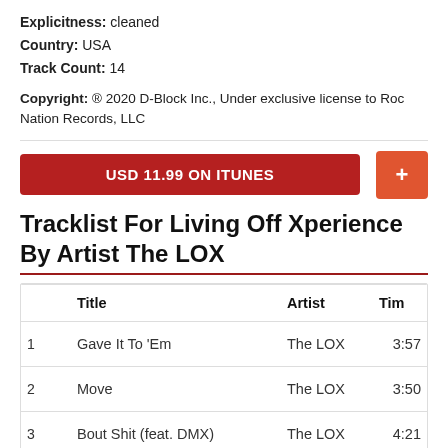Explicitness: cleaned
Country: USA
Track Count: 14
Copyright: ® 2020 D-Block Inc., Under exclusive license to Roc Nation Records, LLC
USD 11.99 ON ITUNES
Tracklist For Living Off Xperience By Artist The LOX
|  | Title | Artist | Time |
| --- | --- | --- | --- |
| 1 | Gave It To 'Em | The LOX | 3:57 |
| 2 | Move | The LOX | 3:50 |
| 3 | Bout Shit (feat. DMX) | The LOX | 4:21 |